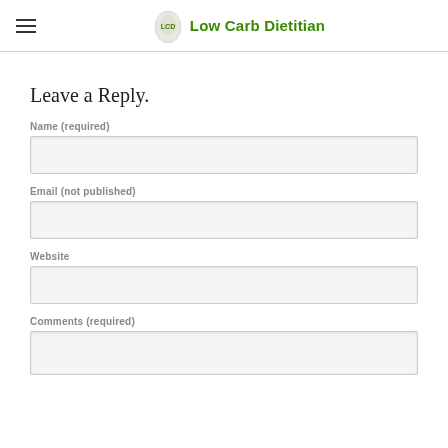Low Carb Dietitian
Leave a Reply.
Name (required)
Email (not published)
Website
Comments (required)